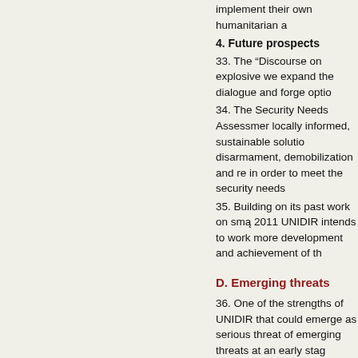implement their own humanitarian a
4. Future prospects
33. The “Discourse on explosive we expand the dialogue and forge optio
34. The Security Needs Assessmer locally informed, sustainable solutio disarmament, demobilization and re in order to meet the security needs
35. Building on its past work on smą 2011 UNIDIR intends to work more development and achievement of th
D. Emerging threats
36. One of the strengths of UNIDIR that could emerge as serious threat of emerging threats at an early stag slowly.
1. Cybersecurity
37. There has been increasing conc surrounding cybersecurity. UNIDIR issues, starting with a conference o resolution 63/37 of December 2008 information security was establishe began work in November 2009 and
38. The Institute has been exploring International Telecommunication Ur